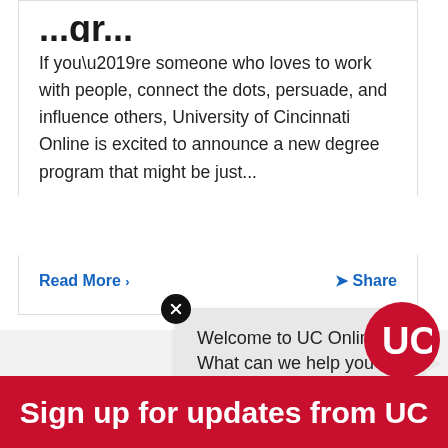...gree...
If you’re someone who loves to work with people, connect the dots, persuade, and influence others, University of Cincinnati Online is excited to announce a new degree program that might be just…
Read More
Share
Welcome to UC Online. What can we help you with today?
Sign up for updates from UC